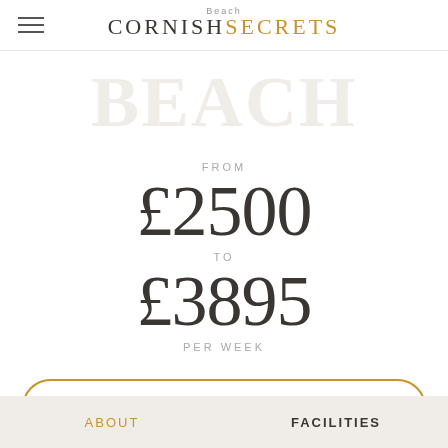CORNISH SECRETS (Beach)
FROM £2500 TO £3895 PER WEEK
CHECK AVAILABILITY
ABOUT | FACILITIES